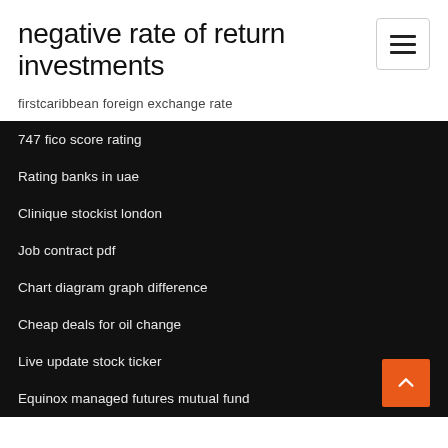negative rate of return investments
firstcaribbean foreign exchange rate
747 fico score rating
Rating banks in uae
Clinique stockist london
Job contract pdf
Chart diagram graph difference
Cheap deals for oil change
Live update stock ticker
Equinox managed futures mutual fund